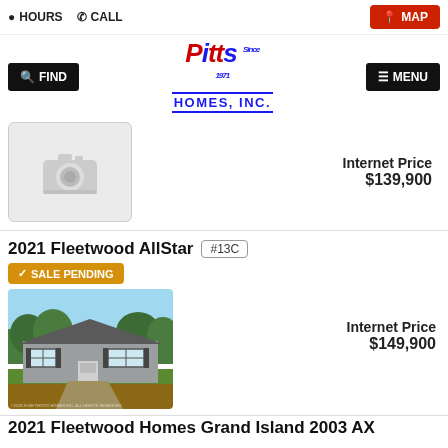HOURS   CALL   MAP
[Figure (logo): Pitts Homes Inc. logo with FIND and MENU navigation buttons]
[Figure (photo): Placeholder camera icon image for home listing]
Internet Price
$139,900
2021 Fleetwood AllStar  #13C
SALE PENDING
[Figure (photo): Exterior rendering of 2021 Fleetwood AllStar home, a ranch-style manufactured home with dark shutters]
Internet Price
$149,900
2021 Fleetwood Homes Grand Island 2003 AX...